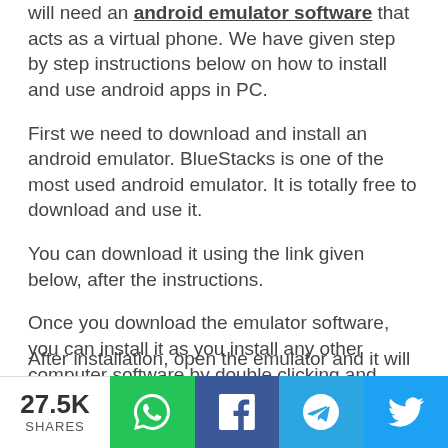will need an android emulator software that acts as a virtual phone. We have given step by step instructions below on how to install and use android apps in PC.
First we need to download and install an android emulator. BlueStacks is one of the most used android emulator. It is totally free to download and use it.
You can download it using the link given below, after the instructions.
Once you download the emulator software, you can install it as you install any other computer software by double clicking and following the steps.
(cut off text at bottom)
27.5K SHARES | WhatsApp | Facebook | Telegram | Twitter